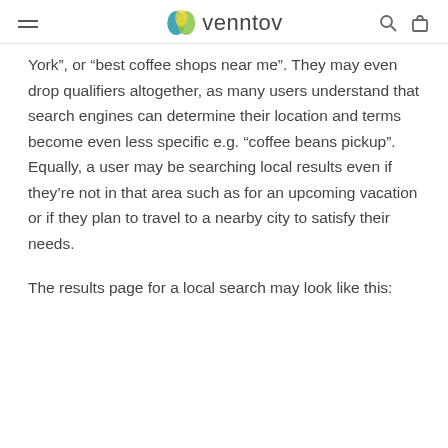venntov
York”, or “best coffee shops near me”. They may even drop qualifiers altogether, as many users understand that search engines can determine their location and terms become even less specific e.g. “coffee beans pickup”. Equally, a user may be searching local results even if they’re not in that area such as for an upcoming vacation or if they plan to travel to a nearby city to satisfy their needs.
The results page for a local search may look like this: